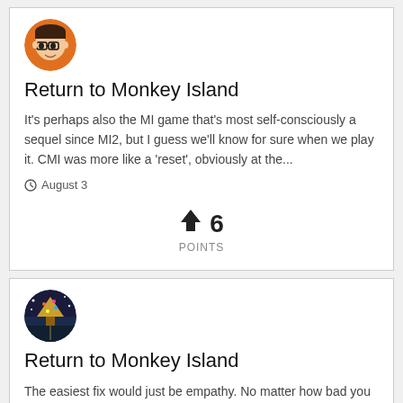[Figure (illustration): Circular avatar with cartoon face wearing glasses on orange background]
Return to Monkey Island
It's perhaps also the MI game that's most self-consciously a sequel since MI2, but I guess we'll know for sure when we play it. CMI was more like a 'reset', obviously at the...
August 3
6 POINTS
[Figure (illustration): Circular avatar with fantasy game scene on dark blue background]
Return to Monkey Island
The easiest fix would just be empathy. No matter how bad you find this or that, just imagine that instead of shouting